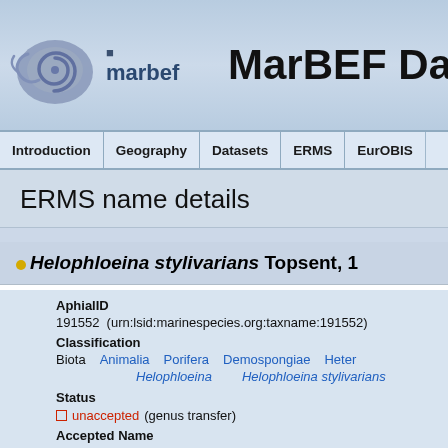[Figure (logo): MarBEF logo with spiral shell icon and 'marbef' text]
MarBEF Da
Introduction | Geography | Datasets | ERMS | EurOBIS
ERMS name details
Helophloeina stylivarians Topsent, 1
| Field | Value |
| --- | --- |
| AphialID | 191552  (urn:lsid:marinespecies.org:taxname:191552) |
| Classification | Biota  Animalia  Porifera  Demospongiae  Heter  Helophloeina  Helophloeina stylivarians |
| Status | unaccepted (genus transfer) |
| Accepted Name | Asbestopluma (Helophloeina) stylivarians (Topsent, 1929) |